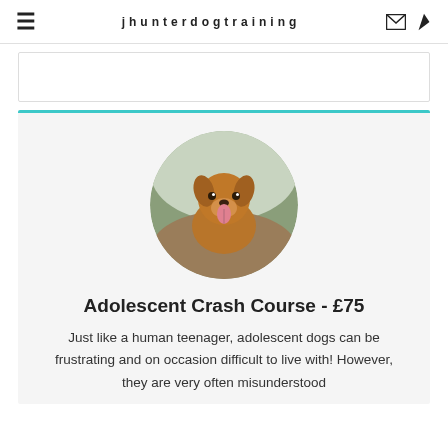jhunterdogtraining
[Figure (photo): Circular photo of a happy golden/brown dog with tongue out on a woodland path]
Adolescent Crash Course - £75
Just like a human teenager, adolescent dogs can be frustrating and on occasion difficult to live with! However, they are very often misunderstood...